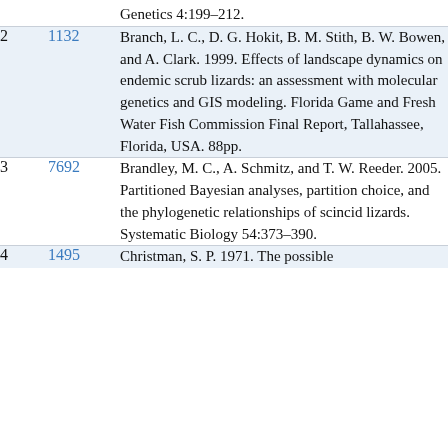Genetics 4:199–212.
2  1132  Branch, L. C., D. G. Hokit, B. M. Stith, B. W. Bowen, and A. Clark. 1999. Effects of landscape dynamics on endemic scrub lizards: an assessment with molecular genetics and GIS modeling. Florida Game and Fresh Water Fish Commission Final Report, Tallahassee, Florida, USA. 88pp.
3  7692  Brandley, M. C., A. Schmitz, and T. W. Reeder. 2005. Partitioned Bayesian analyses, partition choice, and the phylogenetic relationships of scincid lizards. Systematic Biology 54:373–390.
4  1495  Christman, S. P. 1971. The possible